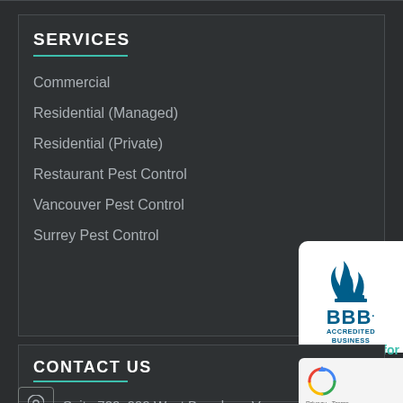SERVICES
Commercial
Residential (Managed)
Residential (Private)
Restaurant Pest Control
Vancouver Pest Control
Surrey Pest Control
[Figure (logo): BBB Accredited Business badge with flame logo in blue and white]
Click for Review
CONTACT US
Suite 720, 999 West Broadway Vancouver
[Figure (logo): Google reCAPTCHA badge with Privacy and Terms links]